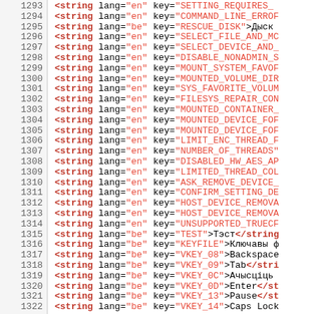Source code listing lines 1293-1322 showing XML string elements with lang and key attributes